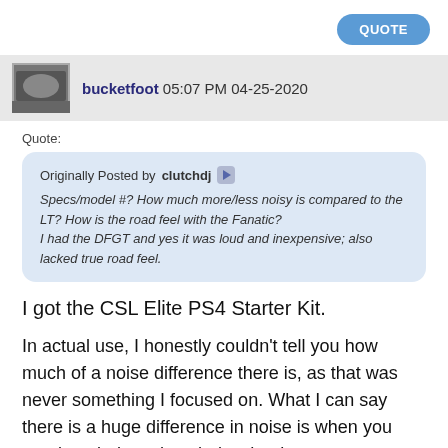QUOTE
bucketfoot 05:07 PM 04-25-2020
Quote:
Originally Posted by clutchdj
Specs/model #? How much more/less noisy is compared to the LT? How is the road feel with the Fanatic?

I had the DFGT and yes it was loud and inexpensive; also lacked true road feel.
I got the CSL Elite PS4 Starter Kit.
In actual use, I honestly couldn't tell you how much of a noise difference there is, as that was never something I focused on. What I can say there is a huge difference in noise is when you turn it on it does the whole wheel